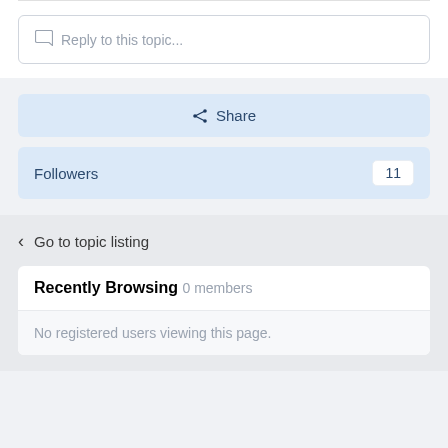Reply to this topic...
Share
Followers  11
Go to topic listing
Recently Browsing  0 members
No registered users viewing this page.